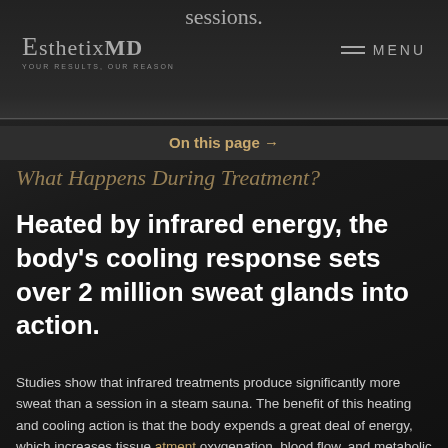sessions.
[Figure (logo): EsthetixMD logo with tagline 'YOUR RESULTS, OUR REASON']
≡ MENU
On this page →
What Happens During Treatment?
Heated by infrared energy, the body's cooling response sets over 2 million sweat glands into action.
Studies show that infrared treatments produce significantly more sweat than a session in a steam sauna. The benefit of this heating and cooling action is that the body expends a great deal of energy, which increases tissue oxygenation, blood flow, and metabolic rates. This